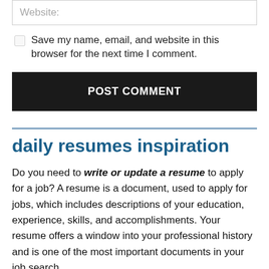Website:
Save my name, email, and website in this browser for the next time I comment.
POST COMMENT
daily resumes inspiration
Do you need to write or update a resume to apply for a job? A resume is a document, used to apply for jobs, which includes descriptions of your education, experience, skills, and accomplishments. Your resume offers a window into your professional history and is one of the most important documents in your job search.